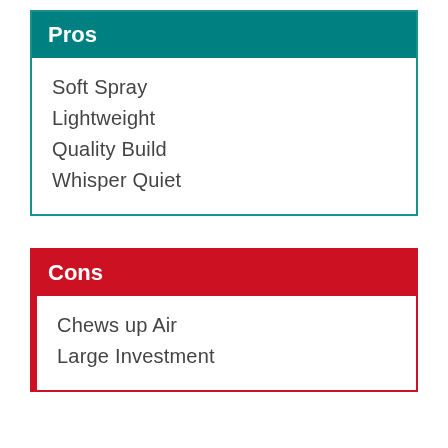Pros
Soft Spray
Lightweight
Quality Build
Whisper Quiet
Cons
Chews up Air
Large Investment